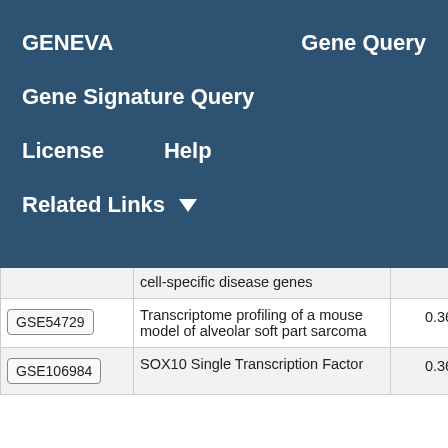GENEVA   Gene Query
Gene Signature Query
License   Help
Related Links ▼
|  | Description | Score |
| --- | --- | --- |
|  | cell-specific disease genes |  |
| GSE54729 | Transcriptome profiling of a mouse model of alveolar soft part sarcoma | 0.36 |
| GSE106984 | SOX10 Single Transcription Factor | 0.36 |